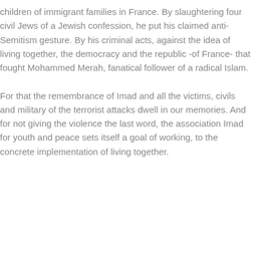children of immigrant families in France. By slaughtering four civil Jews of a Jewish confession, he put his claimed anti-Semitism gesture. By his criminal acts, against the idea of living together, the democracy and the republic -of France- that fought Mohammed Merah, fanatical follower of a radical Islam. For that the remembrance of Imad and all the victims, civils and military of the terrorist attacks dwell in our memories. And for not giving the violence the last word, the association Imad for youth and peace sets itself a goal of working, to the concrete implementation of living together.